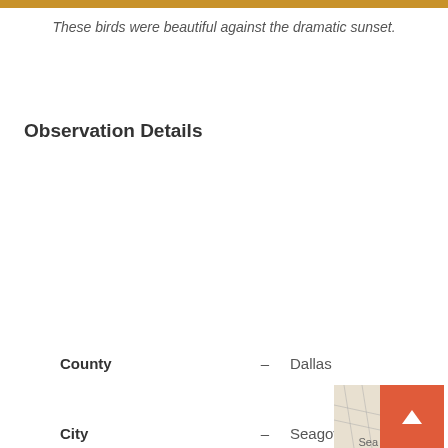These birds were beautiful against the dramatic sunset.
Observation Details
| Field |  | Value |
| --- | --- | --- |
| County | – | Dallas |
| City | – | Seagoville |
| Date | – | Feb 10, 2013 |
| Time of Day | – | Afternoon |
| Temperature | – | Cool (50-69°F/10-21°C) |